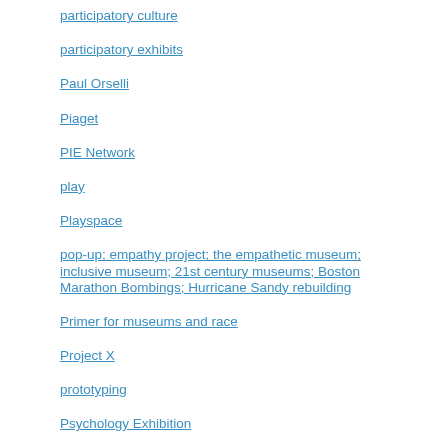participatory culture
participatory exhibits
Paul Orselli
Piaget
PIE Network
play
Playspace
pop-up; empathy project; the empathetic museum; inclusive museum; 21st century museums; Boston Marathon Bombings; Hurricane Sandy rebuilding
Primer for museums and race
Project X
prototyping
Psychology Exhibition
public dimension
race
racial profiling